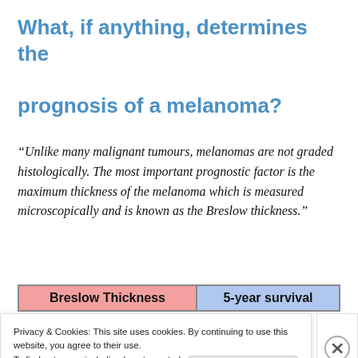What, if anything, determines the prognosis of a melanoma?
“Unlike many malignant tumours, melanomas are not graded histologically. The most important prognostic factor is the maximum thickness of the melanoma which is measured microscopically and is known as the Breslow thickness.”
| Breslow Thickness | 5-year survival |
| --- | --- |
Privacy & Cookies: This site uses cookies. By continuing to use this website, you agree to their use. To find out more, including how to control cookies, see here: Cookie Policy